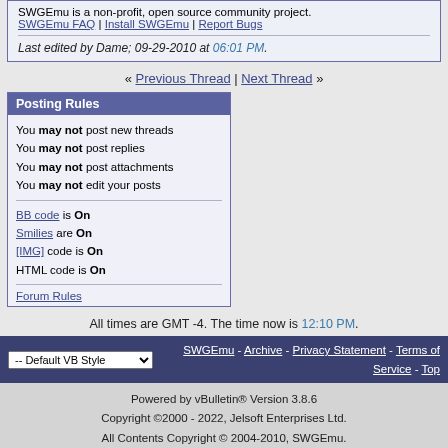SWGEmu is a non-profit, open source community project. SWGEmu FAQ | Install SWGEmu | Report Bugs
Last edited by Dame; 09-29-2010 at 06:01 PM.
« Previous Thread | Next Thread »
Posting Rules
You may not post new threads
You may not post replies
You may not post attachments
You may not edit your posts
BB code is On
Smilies are On
[IMG] code is On
HTML code is On
Forum Rules
All times are GMT -4. The time now is 12:10 PM.
-- Default VB Style
SWGEmu - Archive - Privacy Statement - Terms of Service - Top
Powered by vBulletin® Version 3.8.6
Copyright ©2000 - 2022, Jelsoft Enterprises Ltd.
All Contents Copyright © 2004-2010, SWGEmu.